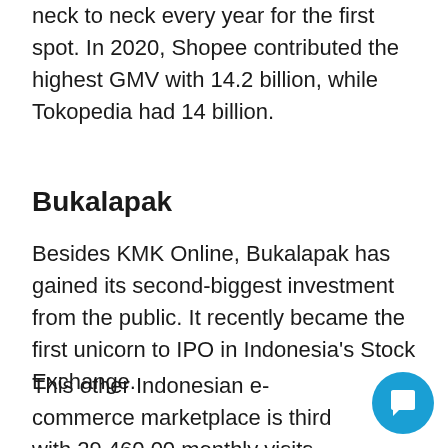neck to neck every year for the first spot. In 2020, Shopee contributed the highest GMV with 14.2 billion, while Tokopedia had 14 billion.
Bukalapak
Besides KMK Online, Bukalapak has gained its second-biggest investment from the public. It recently became the first unicorn to IPO in Indonesia's Stock Exchange.
This other Indonesian e-commerce marketplace is third with 29.460.00 monthly visits.